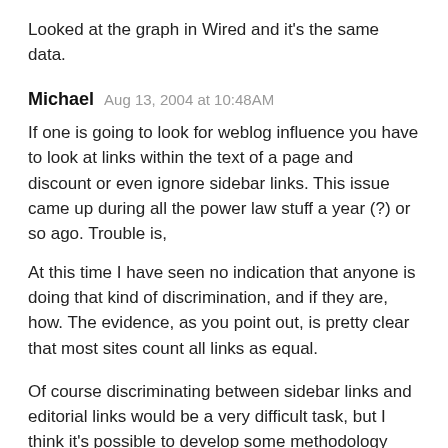Looked at the graph in Wired and it's the same data.
Michael  Aug 13, 2004 at 10:48AM
If one is going to look for weblog influence you have to look at links within the text of a page and discount or even ignore sidebar links. This issue came up during all the power law stuff a year (?) or so ago. Trouble is,
At this time I have seen no indication that anyone is doing that kind of discrimination, and if they are, how. The evidence, as you point out, is pretty clear that most sites count all links as equal.
Of course discriminating between sidebar links and editorial links would be a very difficult task, but I think it's possible to develop some methodology that might